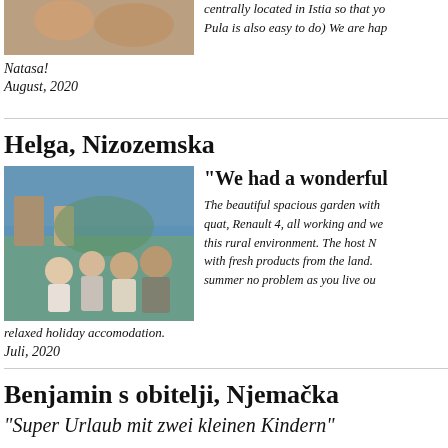[Figure (photo): Partial photo of people at a table, top of page]
centrally located in Istia so that you can easily explore the area (visiting Pula is also easy to do) We are hap
Natasa!
August, 2020
Helga, Nizozemska
[Figure (photo): Family selfie photo in front of a scenic hillside with stone buildings and trees]
"We had a wonderful
The beautiful spacious garden with... quat, Renault 4, all working and we... this rural environment. The host N... with fresh products from the land... summer no problem as you live ou...
relaxed holiday accomodation.
Juli, 2020
Benjamin s obitelji, Njemačka
"Super Urlaub mit zwei kleinen Kindern"